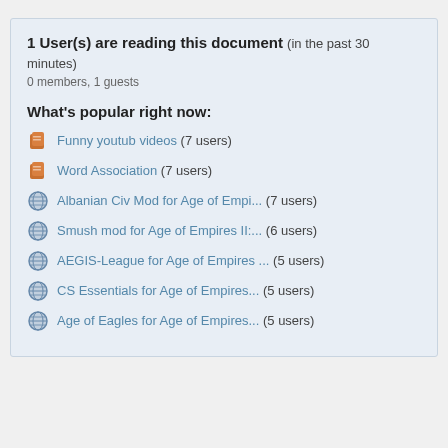1 User(s) are reading this document (in the past 30 minutes)
0 members, 1 guests
What's popular right now:
Funny youtub videos (7 users)
Word Association (7 users)
Albanian Civ Mod for Age of Empi... (7 users)
Smush mod for Age of Empires II:... (6 users)
AEGIS-League for Age of Empires ... (5 users)
CS Essentials for Age of Empires... (5 users)
Age of Eagles for Age of Empires... (5 users)